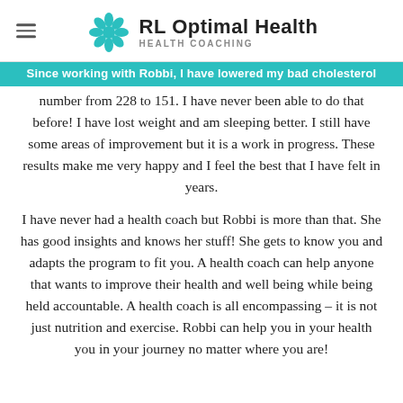RL Optimal Health — Health Coaching
Since working with Robbi, I have lowered my bad cholesterol number from 228 to 151. I have never been able to do that before! I have lost weight and am sleeping better. I still have some areas of improvement but it is a work in progress. These results make me very happy and I feel the best that I have felt in years.
I have never had a health coach but Robbi is more than that. She has good insights and knows her stuff! She gets to know you and adapts the program to fit you. A health coach can help anyone that wants to improve their health and well being while being held accountable. A health coach is all encompassing – it is not just nutrition and exercise. Robbi can help you in your health you in your journey no matter where you are!